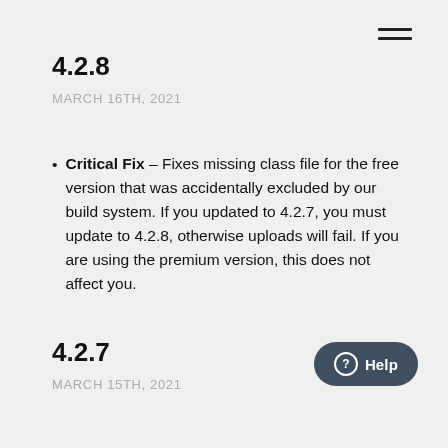4.2.8
MARCH 16TH, 2021
Critical Fix – Fixes missing class file for the free version that was accidentally excluded by our build system. If you updated to 4.2.7, you must update to 4.2.8, otherwise uploads will fail. If you are using the premium version, this does not affect you.
4.2.7
MARCH 15TH, 2021